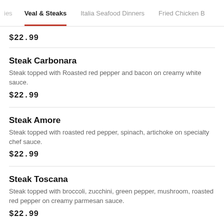ies  Veal & Steaks  Italia Seafood Dinners  Fried Chicken B
$22.99
Steak Carbonara
Steak topped with Roasted red pepper and bacon on creamy white sauce.
$22.99
Steak Amore
Steak topped with roasted red pepper, spinach, artichoke on specialty chef sauce.
$22.99
Steak Toscana
Steak topped with broccoli, zucchini, green pepper, mushroom, roasted red pepper on creamy parmesan sauce.
$22.99